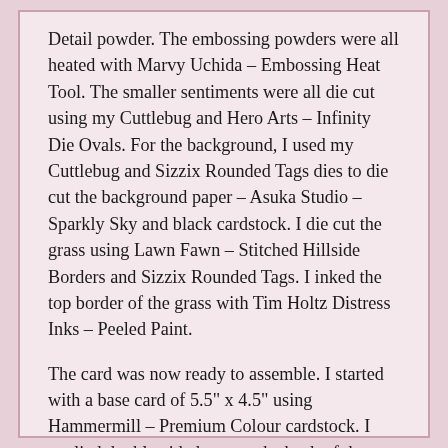Detail powder. The embossing powders were all heated with Marvy Uchida – Embossing Heat Tool. The smaller sentiments were all die cut using my Cuttlebug and Hero Arts – Infinity Die Ovals. For the background, I used my Cuttlebug and Sizzix Rounded Tags dies to die cut the background paper – Asuka Studio – Sparkly Sky and black cardstock. I die cut the grass using Lawn Fawn – Stitched Hillside Borders and Sizzix Rounded Tags. I inked the top border of the grass with Tim Holtz Distress Inks – Peeled Paint.
The card was now ready to assemble. I started with a base card of 5.5" x 4.5" using Hammermill – Premium Colour cardstock. I applied double-sided tape to the back of the black die cut, The patterned paper and the grass cut and applied them all directly to the card. I ran 2 of the "Ouch!" die cuts through my Xyron Create a